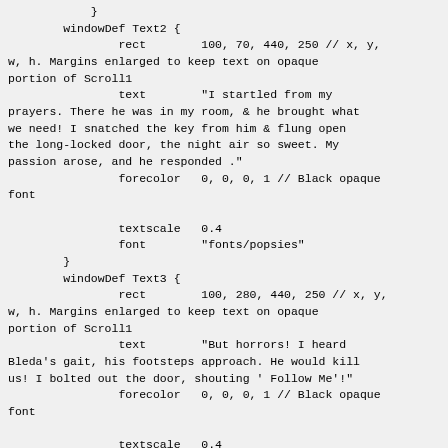}
        windowDef Text2 {
                rect        100, 70, 440, 250 // x, y, w, h. Margins enlarged to keep text on opaque portion of Scroll1
                text        "I startled from my prayers. There he was in my room, & he brought what we need! I snatched the key from him & flung open the long-locked door, the night air so sweet. My passion arose, and he responded ."
                forecolor   0, 0, 0, 1 // Black opaque font

                textscale   0.4
                font        "fonts/popsies"
        }
        windowDef Text3 {
                rect        100, 280, 440, 250 // x, y, w, h. Margins enlarged to keep text on opaque portion of Scroll1
                text        "But horrors! I heard Bleda's gait, his footsteps approach. He would kill us! I bolted out the door, shouting ' Follow Me'!"
                forecolor   0, 0, 0, 1 // Black opaque font

                textscale   0.4
                font        "fonts/popsies"
        }
    windowDef Text4 {
                rect        10, 420, 590, 40 // x, y, w, h. Margins enlarged to keep text on opaque portion of Scroll1
            text        "Continue"
                forecolor   1, 1, 1, 1 //White